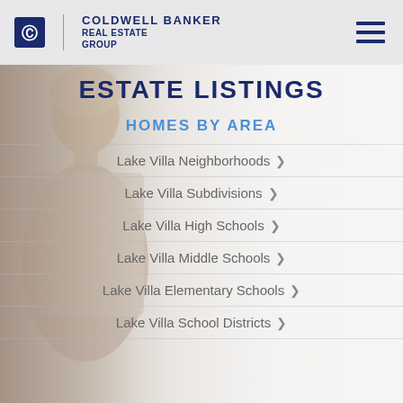COLDWELL BANKER REAL ESTATE GROUP
[Figure (photo): Background photo of a smiling young woman in a plaid shirt, used as decorative backdrop for the estate listings page]
ESTATE LISTINGS
HOMES BY AREA
Lake Villa Neighborhoods
Lake Villa Subdivisions
Lake Villa High Schools
Lake Villa Middle Schools
Lake Villa Elementary Schools
Lake Villa School Districts